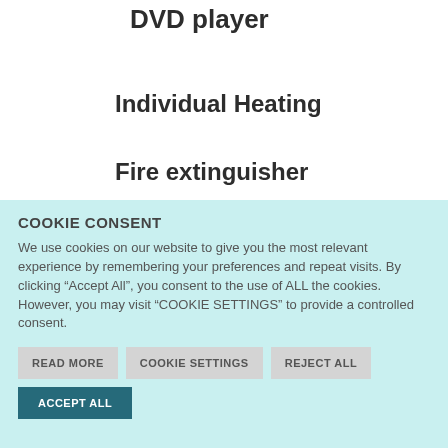DVD player
Individual Heating
Fire extinguisher
COOKIE CONSENT
We use cookies on our website to give you the most relevant experience by remembering your preferences and repeat visits. By clicking “Accept All”, you consent to the use of ALL the cookies. However, you may visit "COOKIE SETTINGS" to provide a controlled consent.
READ MORE | COOKIE SETTINGS | REJECT ALL
ACCEPT ALL